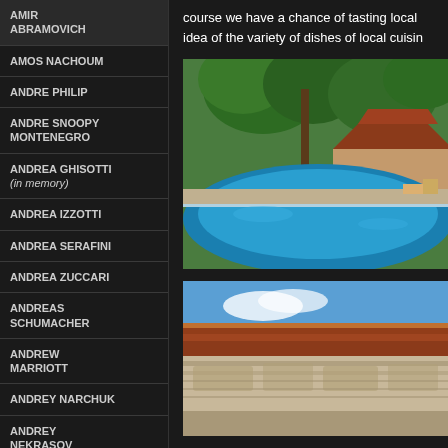AMIR ABRAMOVICH
AMOS NACHOUM
ANDRE PHILIP
ANDRE SNOOPY MONTENEGRO
ANDREA GHISOTTI (in memory)
ANDREA IZZOTTI
ANDREA SERAFINI
ANDREA ZUCCARI
ANDREAS SCHUMACHER
ANDREW MARRIOTT
ANDREY NARCHUK
ANDREY NEKRASOV
ANDREY SHPATAK
course we have a chance of tasting local idea of the variety of dishes of local cuisine
[Figure (photo): Tropical resort pool with Balinese-style pavilion and lush green trees in the background]
[Figure (photo): Balinese stone temple wall with decorative carvings and traditional tiled roof against blue sky]